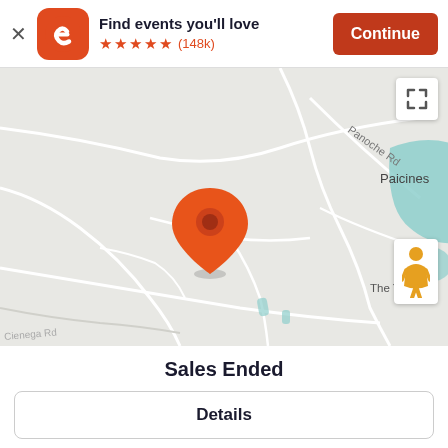[Figure (screenshot): Eventbrite app banner with icon, 'Find events you'll love', 5 stars (148k reviews), and Continue button]
[Figure (map): Google Maps view centered near Paicines, CA, with an orange location marker. Shows Panoche Rd, Cienega Rd roads, a teal water body, and 'The Yard Eq' label partially visible. Includes expand and street-view controls.]
Sales Ended
Details